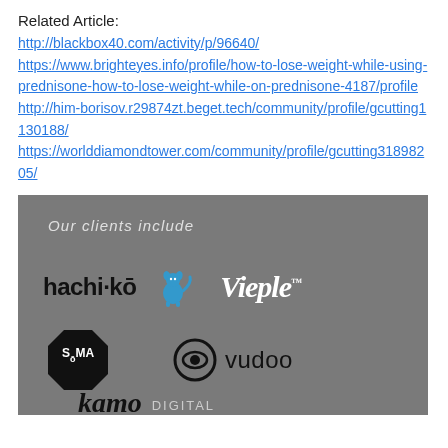Related Article:
http://blackbox40.com/activity/p/96640/ https://www.brighteyes.info/profile/how-to-lose-weight-while-using-prednisone-how-to-lose-weight-while-on-prednisone-4187/profile http://him-borisov.r29874zt.beget.tech/community/profile/gcutting1130188/ https://worlddiamondtower.com/community/profile/gcutting31898205/
[Figure (illustration): Dark grey banner showing 'Our clients include' with client logos: hachi-ko (with dog icon), Vieple, SoMA, vudoo, kamo DIGITAL]